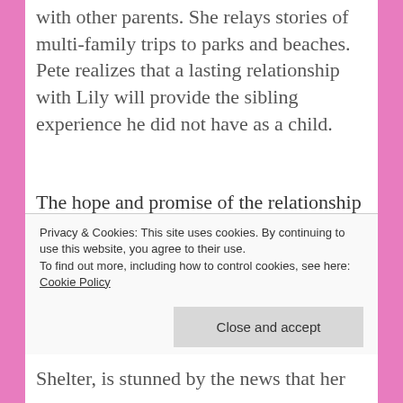with other parents. She relays stories of multi-family trips to parks and beaches. Pete realizes that a lasting relationship with Lily will provide the sibling experience he did not have as a child.
The hope and promise of the relationship are brought to a screeching halt. Pete is found dead. Lily's world is shattered. Her friends and her dogs help her pick up the pieces and sniff out a killer.
Clues From The Canines
Privacy & Cookies: This site uses cookies. By continuing to use this website, you agree to their use.
To find out more, including how to control cookies, see here: Cookie Policy
Shelter, is stunned by the news that her